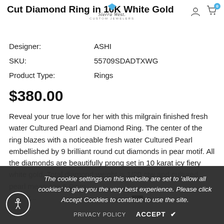Cut Diamond Ring in 10K White Gold — Sierra West Custom Jewelers
| Designer: | ASHI |
| SKU: | 55709SDADTXWG |
| Product Type: | Rings |
$380.00
Reveal your true love for her with this milgrain finished fresh water Cultured Pearl and Diamond Ring. The center of the ring blazes with a noticeable fresh water Cultured Pearl embellished by 9 brilliant round cut diamonds in pear motif. All the diamonds are beautifully prong set in 10 karat icy fiery white gold. Total diamond weight is 1/20 ctw and cultured pearl measures 6.0mm.
The cookie settings on this website are set to 'allow all cookies' to give you the very best experience. Please click Accept Cookies to continue to use the site.
PRIVACY POLICY   ACCEPT ✔